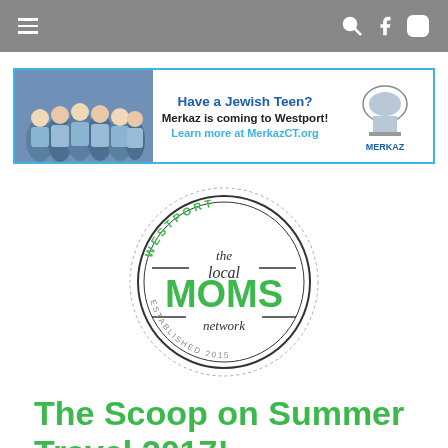Navigation bar with hamburger menu, search, Facebook, and Instagram icons
[Figure (infographic): Merkaz banner ad: group photo of Jewish teens on left, text 'Have a Jewish Teen? Merkaz is coming to Westport! Learn more at MerkazCT.org' in center, Merkaz logo on right]
[Figure (logo): Westport The Local MOMS Network circle logo with text 'WESTPORT', 'the local', 'MOMS', 'network', 'ESTABLISHED 2015']
The Scoop on Summer Travel 2017!